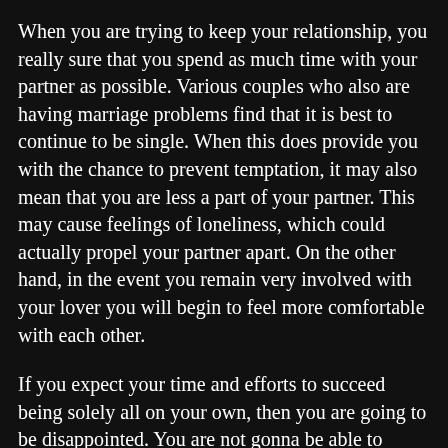When you are trying to keep your relationship, you really sure that you spend as much time with your partner as possible. Various couples who also are having marriage problems find that it is best to continue to be single. When this does provide you with the chance to prevent temptation, it may also mean that you are less a part of your partner. This may cause feelings of loneliness, which could actually propel your partner apart. On the other hand, in the event you remain very involved with your lover you will begin to feel more comfortable with each other.
If you expect your time and efforts to succeed being solely all on your own, then you are going to be disappointed. You are not gonna be able to dedicate every rising minute with all your partner. If you are going to be successful then you certainly must make time for at least one another. Try working on activities that provide you with closer jointly, such as sporting, art or music. Make a commitment to invest quality time with the partner frequently.
Once you have devoted yourself to assisting your partner in order to save their overseas marriage you